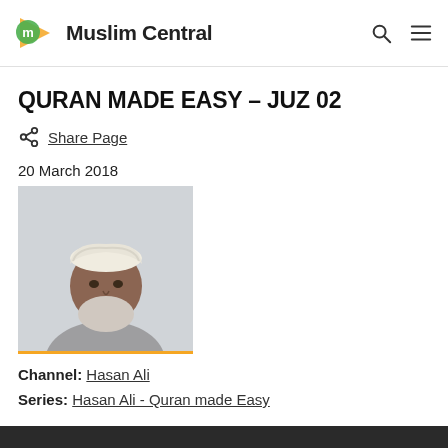Muslim Central
QURAN MADE EASY – JUZ 02
Share Page
20 March 2018
[Figure (photo): Portrait photo of a man wearing a white turban and grey clothing with a beard, against a light grey background.]
Channel: Hasan Ali
Series: Hasan Ali - Quran made Easy